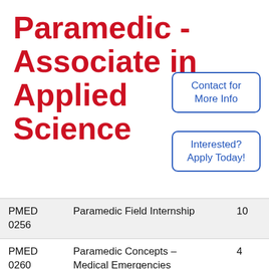Paramedic - Associate in Applied Science
Contact for More Info
Interested? Apply Today!
| Code | Course | Credits |
| --- | --- | --- |
| PMED 0256 | Paramedic Field Internship | 10 |
| PMED 0260 | Paramedic Concepts – Medical Emergencies | 4 |